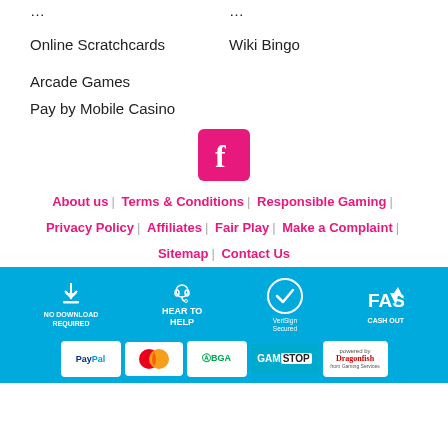Online Scratchcards
Wiki Bingo
Arcade Games
Pay by Mobile Casino
[Figure (logo): Facebook icon – pink/magenta rounded square with white letter f]
About us | Terms & Conditions | Responsible Gaming | Privacy Policy | Affiliates | Fair Play | Make a Complaint | Sitemap | Contact Us
[Figure (infographic): Blue footer bar with four badges: No Download Required, Hear to Help (headset icon), VeriSign Secured (checkmark), Fast Cash Out (rocket icon). Below: payment/trust logos: PayPal, MasterCard, GBGA, GamStop, Dragonfish powered by.]